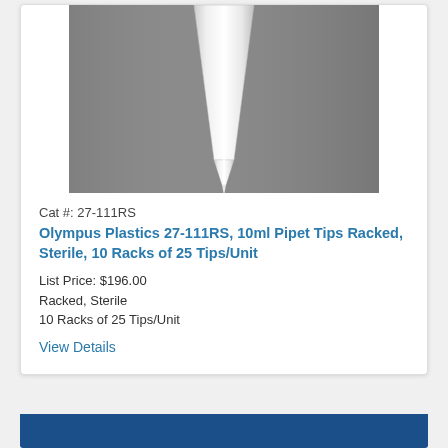[Figure (photo): Close-up photograph of a white plastic 10ml pipet tip against a gray background, showing the tapered narrow tip pointing downward.]
Cat #: 27-111RS
Olympus Plastics 27-111RS, 10ml Pipet Tips Racked, Sterile, 10 Racks of 25 Tips/Unit
List Price: $196.00
Racked, Sterile
10 Racks of 25 Tips/Unit
View Details